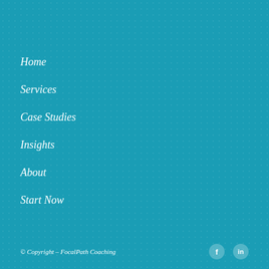Home
Services
Case Studies
Insights
About
Start Now
© Copyright – FocalPath Coaching